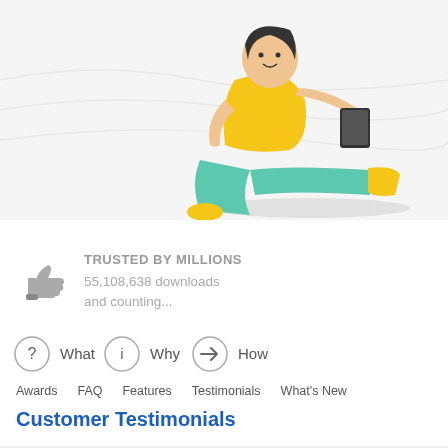[Figure (illustration): Illustration of a person sitting on the floor using a tablet/device, wearing teal pants and yellow top with yellow shoes, against a light grey background]
TRUSTED BY MILLIONS
55,108,638 downloads and counting...
[Figure (infographic): Three navigation icons in circles: question mark (What), info symbol (Why), arrow (How)]
Awards    FAQ    Features    Testimonials    What's New
Customer Testimonials